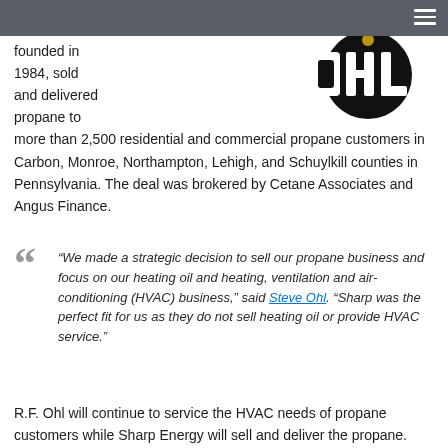[Figure (logo): R.F. Ohl company logo - large bold letters on black circular background]
founded in 1984, sold and delivered propane to more than 2,500 residential and commercial propane customers in Carbon, Monroe, Northampton, Lehigh, and Schuylkill counties in Pennsylvania. The deal was brokered by Cetane Associates and Angus Finance.
“We made a strategic decision to sell our propane business and focus on our heating oil and heating, ventilation and air-conditioning (HVAC) business,” said Steve Ohl. “Sharp was the perfect fit for us as they do not sell heating oil or provide HVAC service.”
R.F. Ohl will continue to service the HVAC needs of propane customers while Sharp Energy will sell and deliver the propane.